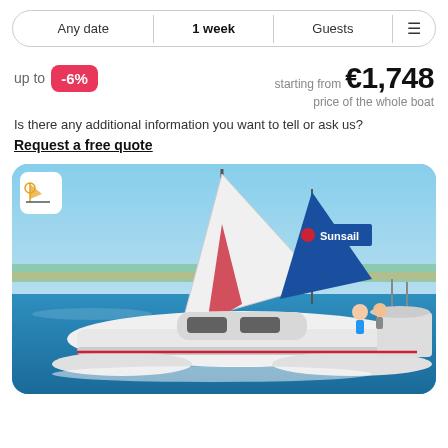Any date | 1 week | Guests ≡
up to -6% starting from €1,748 price of the whole boat
Is there any additional information you want to tell or ask us?
Request a free quote
[Figure (photo): A white Sunsail catamaran sailing on blue water with red and white sails, two people on deck, tropical coastline in background.]